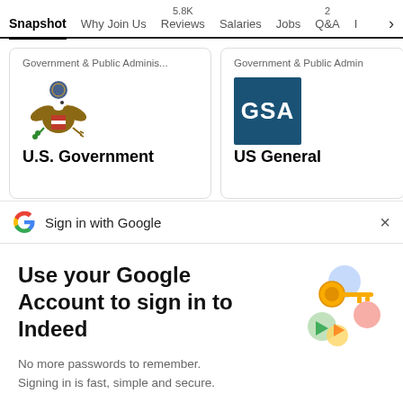Snapshot | Why Join Us | 5.8K Reviews | Salaries | Jobs | 2 Q&A | I >
[Figure (screenshot): Card for U.S. Government with Great Seal logo and category Government & Public Adminis...]
[Figure (logo): GSA logo (blue square with white GSA text) with category Government & Public Admin and title US General]
Sign in with Google
Use your Google Account to sign in to Indeed
No more passwords to remember. Signing in is fast, simple and secure.
[Figure (illustration): Colorful key and shield illustration for Google sign-in]
Continue